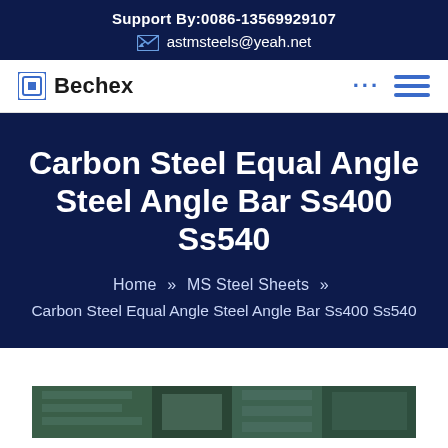Support By:0086-13569929107
astmsteels@yeah.net
Bechex
Carbon Steel Equal Angle Steel Angle Bar Ss400 Ss540
Home » MS Steel Sheets » Carbon Steel Equal Angle Steel Angle Bar Ss400 Ss540
[Figure (photo): Partial view of a steel products warehouse or facility showing stacked materials, cut off at the bottom of the page]